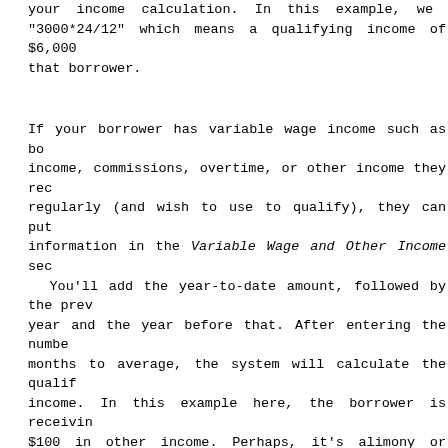your income calculation. In this example, we "3000*24/12" which means a qualifying income of $6,000 that borrower.
If your borrower has variable wage income such as bonus income, commissions, overtime, or other income they receive regularly (and wish to use to qualify), they can put information in the Variable Wage and Other Income section. You'll add the year-to-date amount, followed by the previous year and the year before that. After entering the number of months to average, the system will calculate the qualifying income. In this example here, the borrower is receiving $100 in other income. Perhaps, it's alimony or child support. They've received $300 so far this year as well as $1200 in previous two years. Dividing that by 27, the system will calculate $100 a month. All of this calculates to $6100 a month based on prior input.